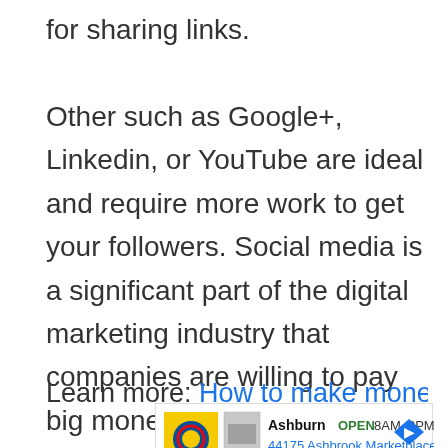for sharing links.
Other such as Google+, Linkedin, or YouTube are ideal and require more work to get your followers. Social media is a significant part of the digital marketing industry that companies are willing to pay big money for skilled social media managers and influencers.
Learn more: How to make money with your
[Figure (other): Advertisement for Lidl store in Ashburn, showing store logo, OPEN status, hours 8AM-9PM, and address 44175 Ashbrook Marketplace Plaza, with navigation arrow icon.]